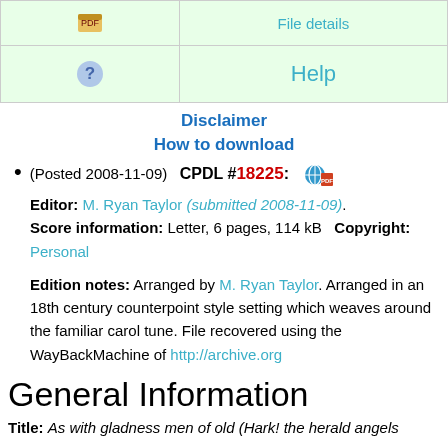|  |  |
| --- | --- |
| [icon] | [file details link] |
| [? icon] | Help |
Disclaimer
How to download
(Posted 2008-11-09)  CPDL #18225:  [icon]
Editor: M. Ryan Taylor (submitted 2008-11-09). Score information: Letter, 6 pages, 114 kB   Copyright: Personal
Edition notes: Arranged by M. Ryan Taylor. Arranged in an 18th century counterpoint style setting which weaves around the familiar carol tune. File recovered using the WayBackMachine of http://archive.org
General Information
Title: As with gladness men of old (Hark! the herald angels